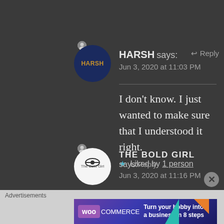HARSH says: Jun 3, 2020 at 11:03 PM
I don’t know. I just wanted to make sure that I understood it right.
★ Liked by 1 person
THE BOLD GIRL says: Reply Jun 3, 2020 at 11:16 PM
Advertisements
[Figure (other): WooCommerce advertisement banner: Turn your hobby into a business in 8 steps]